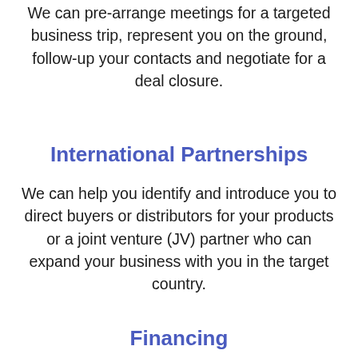We can pre-arrange meetings for a targeted business trip, represent you on the ground, follow-up your contacts and negotiate for a deal closure.
International Partnerships
We can help you identify and introduce you to direct buyers or distributors for your products or a joint venture (JV) partner who can expand your business with you in the target country.
Financing